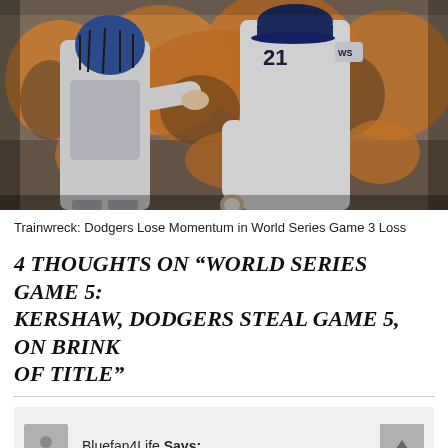[Figure (photo): Two Los Angeles Dodgers players in gray uniforms with 'WS' patch, a catcher and a pitcher, touching hands/fist-bumping on the field with orange-clad crowd in background]
Trainwreck: Dodgers Lose Momentum in World Series Game 3 Loss
4 THOUGHTS ON “WORLD SERIES GAME 5: KERSHAW, DODGERS STEAL GAME 5, ON BRINK OF TITLE”
Bluefan4Life Says: